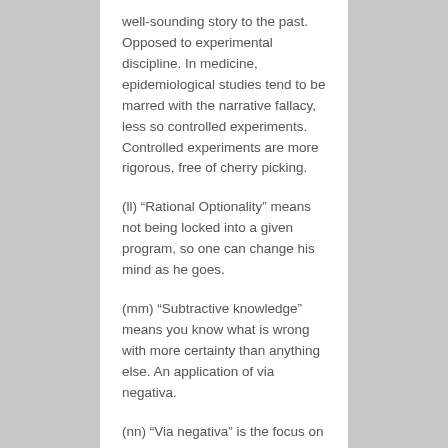well-sounding story to the past. Opposed to experimental discipline. In medicine, epidemiological studies tend to be marred with the narrative fallacy, less so controlled experiments. Controlled experiments are more rigorous, free of cherry picking.
(ll) “Rational Optionality” means not being locked into a given program, so one can change his mind as he goes.
(mm) “Subtractive knowledge” means you know what is wrong with more certainty than anything else. An application of via negativa.
(nn) “Via negativa” is the focus on what something is not, an indirect definition. In action, it is a recipe of what to avoid, what not to do - subtraction not addition to medicine.